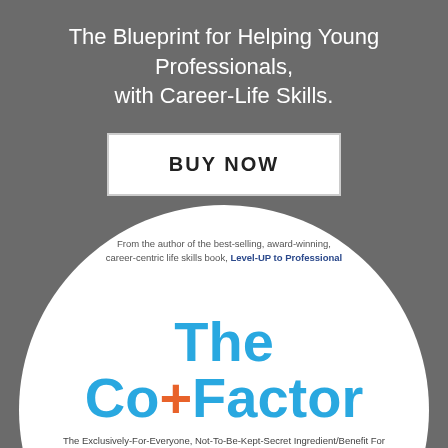The Blueprint for Helping Young Professionals, with Career-Life Skills.
[Figure (illustration): A white circle on a grey background containing book cover imagery. Inside the circle: text 'From the author of the best-selling, award-winning, career-centric life skills book, Level-UP to Professional', large title 'The Co+Factor' in blue and orange, and subtitle 'The Exclusively-For-Everyone, Not-To-Be-Kept-Secret Ingredient/Benefit For Helping You and Your Organization Successfully Create, Engage and Prosper']
BUY NOW